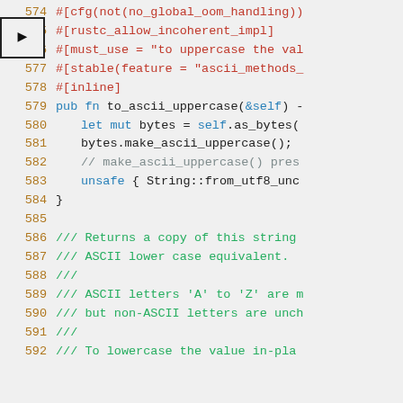[Figure (screenshot): Rust source code viewer showing lines 574-592 with syntax highlighting. Line 575 is highlighted with an arrow indicator. Code shows attributes, a pub fn to_ascii_uppercase function, and doc comments about ASCII case conversion.]